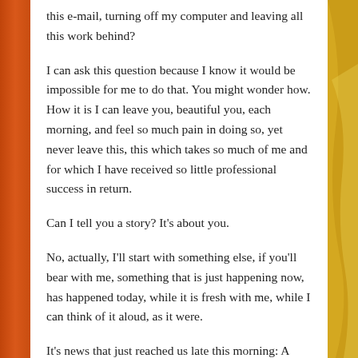this e-mail, turning off my computer and leaving all this work behind?
I can ask this question because I know it would be impossible for me to do that. You might wonder how. How it is I can leave you, beautiful you, each morning, and feel so much pain in doing so, yet never leave this, this which takes so much of me and for which I have received so little professional success in return.
Can I tell you a story? It's about you.
No, actually, I'll start with something else, if you'll bear with me, something that is just happening now, has happened today, while it is fresh with me, while I can think of it aloud, as it were.
It's news that just reached us late this morning: A creature has been found in Africa. A leopard. Does the word mean